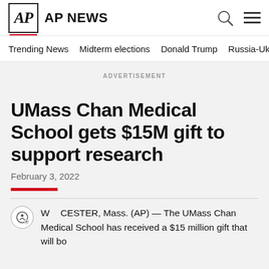AP NEWS
Trending News    Midterm elections    Donald Trump    Russia-Ukr
ADVERTISEMENT
UMass Chan Medical School gets $15M gift to support research
February 3, 2022
WORCESTER, Mass. (AP) — The UMass Chan Medical School has received a $15 million gift that will boost